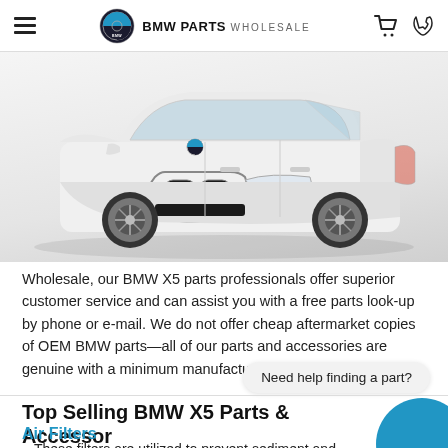BMW PARTS WHOLESALE
[Figure (photo): White BMW X5 SUV front three-quarter view on light grey background]
Wholesale, our BMW X5 parts professionals offer superior customer service and can assist you with a free parts look-up by phone or e-mail. We do not offer cheap aftermarket copies of OEM BMW parts—all of our parts and accessories are genuine with a minimum manufacturer warranty of 12 months.
Need help finding a part?
Top Selling BMW X5 Parts & Accessories
Air Filters
These filters are utilized to prevent sediment and dust